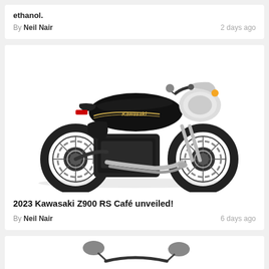ethanol.
By Neil Nair — 2 days ago
[Figure (photo): Black Kawasaki Z900 RS Café motorcycle on white background, side profile view showing retro cafe racer styling with round headlight fairing, low handlebars, and classic exhaust pipes]
2023 Kawasaki Z900 RS Café unveiled!
By Neil Nair — 6 days ago
[Figure (photo): Partial view of a motorcycle, showing handlebars/mirrors at bottom of card]